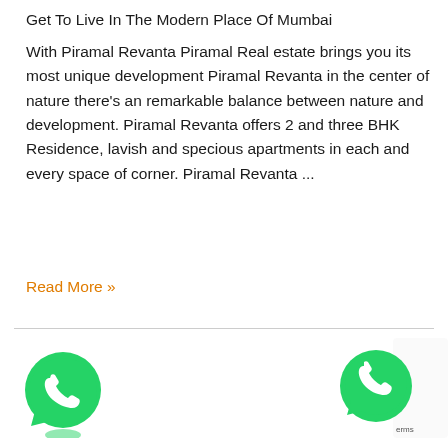Get To Live In The Modern Place Of Mumbai
With Piramal Revanta Piramal Real estate brings you its most unique development Piramal Revanta in the center of nature there's an remarkable balance between nature and development. Piramal Revanta offers 2 and three BHK Residence, lavish and specious apartments in each and every space of corner. Piramal Revanta ...
Read More »
[Figure (illustration): WhatsApp icon (green phone bubble) on the left side bottom of the page]
[Figure (illustration): WhatsApp icon (green phone bubble) on the right side bottom of the page with reCAPTCHA badge partially visible]